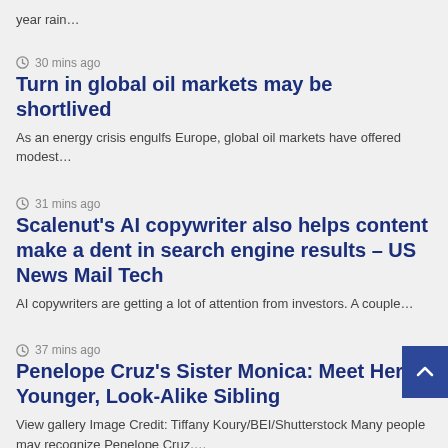year rain…
🕐 30 mins ago
Turn in global oil markets may be shortlived
As an energy crisis engulfs Europe, global oil markets have offered modest…
🕐 31 mins ago
Scalenut's AI copywriter also helps content make a dent in search engine results – US News Mail Tech
AI copywriters are getting a lot of attention from investors. A couple…
🕐 37 mins ago
Penelope Cruz's Sister Monica: Meet Her Younger, Look-Alike Sibling
View gallery Image Credit: Tiffany Koury/BEI/Shutterstock Many people may recognize Penelope Cruz,…